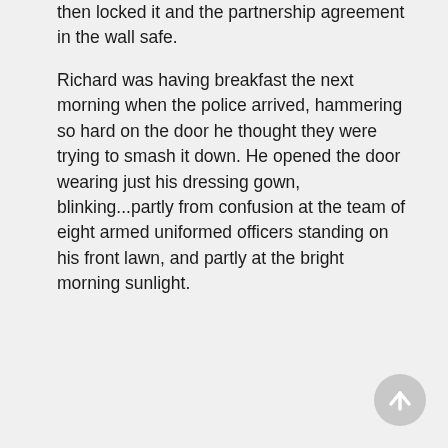then locked it and the partnership agreement in the wall safe.
Richard was having breakfast the next morning when the police arrived, hammering so hard on the door he thought they were trying to smash it down. He opened the door wearing just his dressing gown, blinking...partly from confusion at the team of eight armed uniformed officers standing on his front lawn, and partly at the bright morning sunlight.